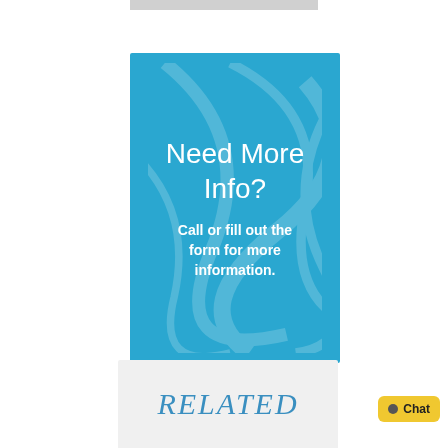[Figure (illustration): Blue card with swirl/abstract background pattern containing 'Need More Info?' headline and 'Call or fill out the form for more information.' subtext in white on a sky-blue background.]
RELATED